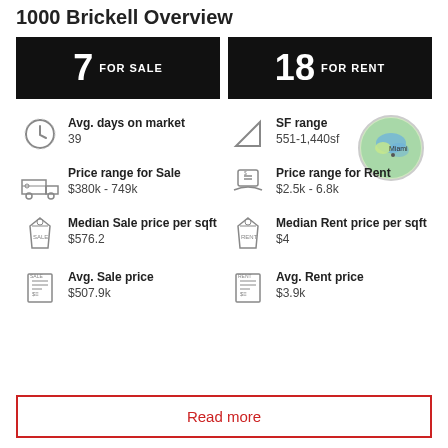1000 Brickell Overview
7 FOR SALE
18 FOR RENT
Avg. days on market
39
SF range
551-1,440sf
Price range for Sale
$380k - 749k
Price range for Rent
$2.5k - 6.8k
Median Sale price per sqft
$576.2
Median Rent price per sqft
$4
Avg. Sale price
$507.9k
Avg. Rent price
$3.9k
Read more